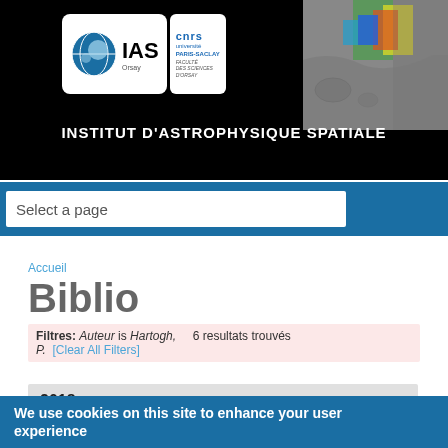[Figure (logo): IAS Institut d'Astrophysique Spatiale logo with CNRS and Université Paris-Saclay logos]
[Figure (photo): False-color image of Mars surface with thermal/spectral data overlay]
INSTITUT D'ASTROPHYSIQUE SPATIALE
Select a page
nuaire ]
Accueil
Biblio
Filtres: Auteur is Hartogh, P.  6 resultats trouvés [Clear All Filters]
2018
We use cookies on this site to enhance your user experience